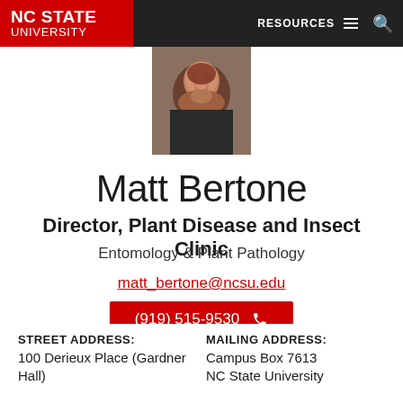NC STATE UNIVERSITY | RESOURCES
[Figure (photo): Portrait photo of Matt Bertone, a man with a beard]
Matt Bertone
Director, Plant Disease and Insect Clinic
Entomology & Plant Pathology
matt_bertone@ncsu.edu
(919) 515-9530
DOWNLOAD VCARD
STREET ADDRESS:
100 Derieux Place (Gardner Hall)
MAILING ADDRESS:
Campus Box 7613
NC State University